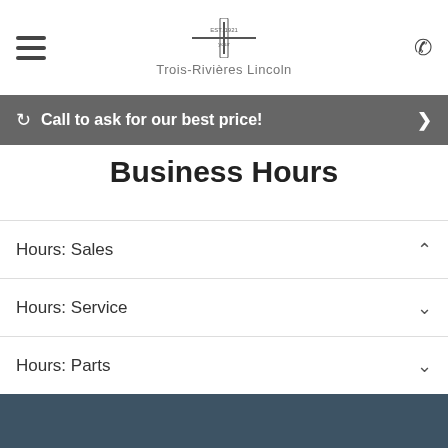Trois-Rivières Lincoln
Call to ask for our best price!
Business Hours
Hours: Sales
Hours: Service
Hours: Parts